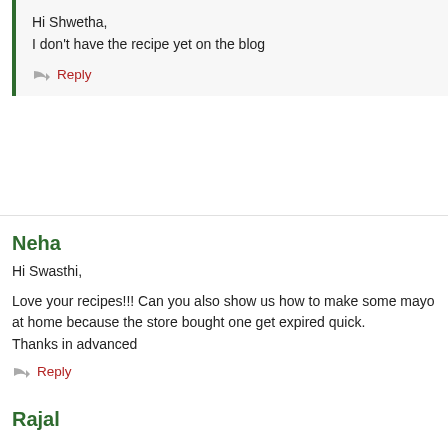Hi Shwetha,
I don't have the recipe yet on the blog
Reply
Neha
Hi Swasthi,

Love your recipes!!! Can you also show us how to make some mayo at home because the store bought one get expired quick.
Thanks in advanced
Reply
Rajal